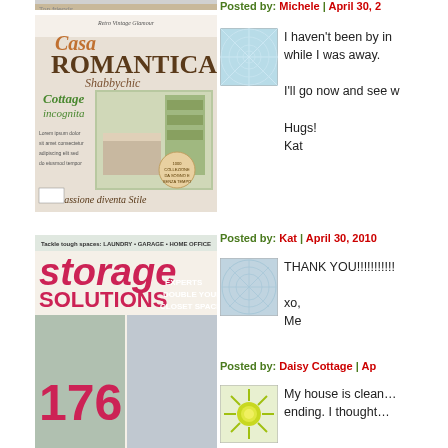[Figure (photo): Partial top strip of a magazine cover]
[Figure (photo): Casa Romantica Shabbychic Italian magazine cover with cottage interior bedroom image]
[Figure (photo): Storage Solutions magazine cover with pink/magenta title text and interior storage photos]
Posted by: Michele | April 30, 2
[Figure (illustration): Blue web/lace pattern avatar thumbnail]
I haven't been by in while I was away.

I'll go now and see w

Hugs!
Kat
Posted by: Kat | April 30, 2010
[Figure (illustration): Blue web/lace pattern avatar thumbnail]
THANK YOU!!!!!!!!!!

xo,
Me
Posted by: Daisy Cottage | Ap
[Figure (illustration): Green sunburst avatar thumbnail]
My house is clean...
ending. I thought...